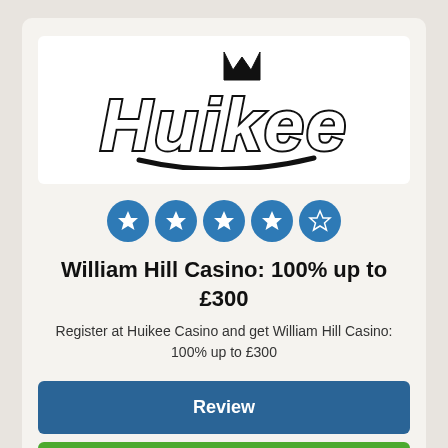[Figure (logo): Huikee casino logo in bold black lettering with a crown above the H]
[Figure (infographic): Five blue circle star rating icons — four filled stars and one empty/outline star — representing a 4 out of 5 rating]
William Hill Casino: 100% up to £300
Register at Huikee Casino and get William Hill Casino: 100% up to £300
Review
Play now
[Figure (logo): Partial colorful logo visible at the bottom of the page, partially cropped]